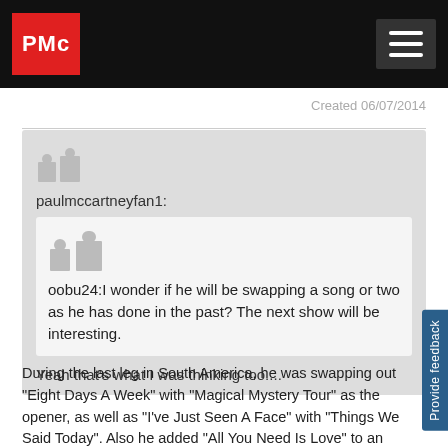PMc
Created 06/07/2014
paulmccartneyfan1:
oobu24:I wonder if he will be swapping a song or two as he has done in the past? The next show will be interesting.
Yeah that's what I was thinking too....
During the last leg in South America, he was swapping out "Eight Days A Week" with "Magical Mystery Tour" as the opener, as well as "I've Just Seen A Face" with "Things We Said Today". Also he added "All You Need Is Love" to an encore and dropped "Benefit of Mr. Kite" for "One After 909".